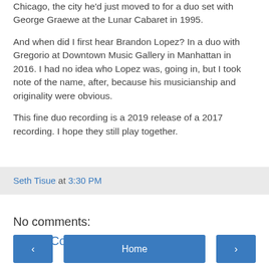Chicago, the city he'd just moved to for a duo set with George Graewe at the Lunar Cabaret in 1995.
And when did I first hear Brandon Lopez? In a duo with Gregorio at Downtown Music Gallery in Manhattan in 2016. I had no idea who Lopez was, going in, but I took note of the name, after, because his musicianship and originality were obvious.
This fine duo recording is a 2019 release of a 2017 recording. I hope they still play together.
Seth Tisue at 3:30 PM
No comments:
Post a Comment